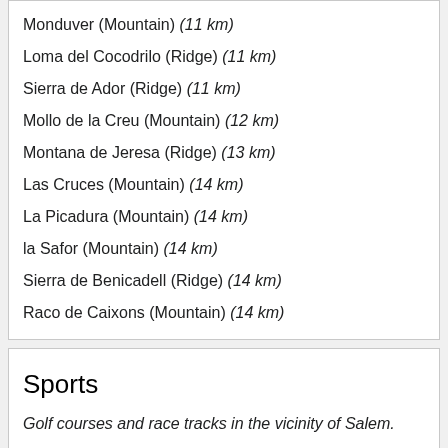Monduver (Mountain) (11 km)
Loma del Cocodrilo (Ridge) (11 km)
Sierra de Ador (Ridge) (11 km)
Mollo de la Creu (Mountain) (12 km)
Montana de Jeresa (Ridge) (13 km)
Las Cruces (Mountain) (14 km)
La Picadura (Mountain) (14 km)
la Safor (Mountain) (14 km)
Sierra de Benicadell (Ridge) (14 km)
Raco de Caixons (Mountain) (14 km)
Sports
Golf courses and race tracks in the vicinity of Salem.
Club de Golf de Gandia (Golf course) (17 km)